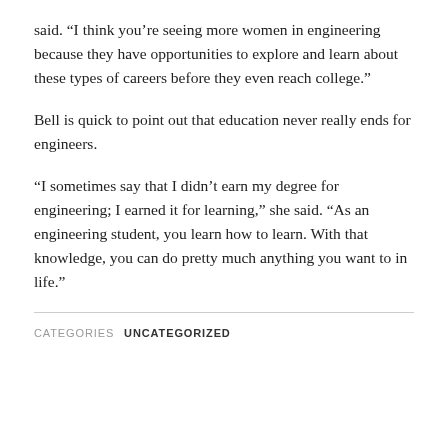said. “I think you’re seeing more women in engineering because they have opportunities to explore and learn about these types of careers before they even reach college.”
Bell is quick to point out that education never really ends for engineers.
“I sometimes say that I didn’t earn my degree for engineering; I earned it for learning,” she said. “As an engineering student, you learn how to learn. With that knowledge, you can do pretty much anything you want to in life.”
CATEGORIES  UNCATEGORIZED